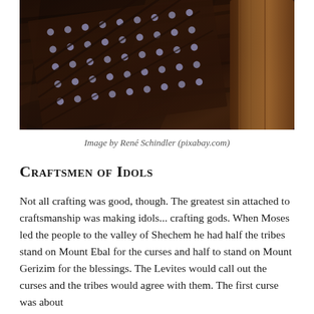[Figure (photo): Close-up dark photograph of wooden planks with nails arranged in a grid pattern, possibly a nail bed or studded wooden board, with a wooden handle visible on the right side. Dark brown tones throughout.]
Image by René Schindler (pixabay.com)
Craftsmen of Idols
Not all crafting was good, though. The greatest sin attached to craftsmanship was making idols... crafting gods. When Moses led the people to the valley of Shechem he had half the tribes stand on Mount Ebal for the curses and half to stand on Mount Gerizim for the blessings. The Levites would call out the curses and the tribes would agree with them. The first curse was about